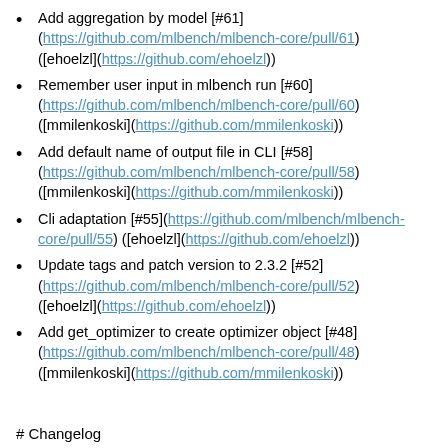Add aggregation by model [#61] (https://github.com/mlbench/mlbench-core/pull/61) ([ehoelzl](https://github.com/ehoelzl))
Remember user input in mlbench run [#60] (https://github.com/mlbench/mlbench-core/pull/60) ([mmilenkoski](https://github.com/mmilenkoski))
Add default name of output file in CLI [#58] (https://github.com/mlbench/mlbench-core/pull/58) ([mmilenkoski](https://github.com/mmilenkoski))
Cli adaptation [#55](https://github.com/mlbench/mlbench-core/pull/55) ([ehoelzl](https://github.com/ehoelzl))
Update tags and patch version to 2.3.2 [#52] (https://github.com/mlbench/mlbench-core/pull/52) ([ehoelzl](https://github.com/ehoelzl))
Add get_optimizer to create optimizer object [#48] (https://github.com/mlbench/mlbench-core/pull/48) ([mmilenkoski](https://github.com/mmilenkoski))
# Changelog